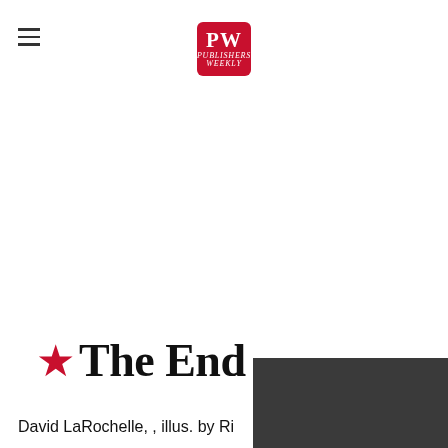[Figure (logo): Publishers Weekly logo — red rounded square with white 'PW' letters]
★The End
David LaRochelle, , illus. by Ri